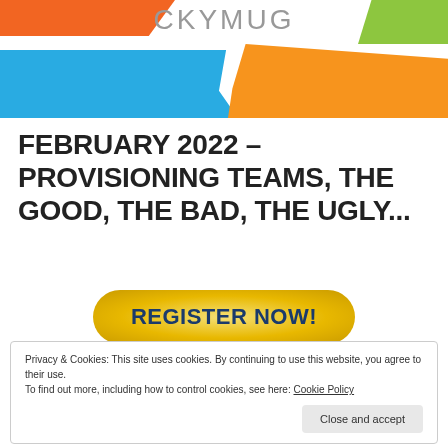[Figure (illustration): CKYMUG header banner with colorful geometric shapes: orange top-left, blue rectangle, green top-right, yellow/orange right. 'CKYMUG' text in gray center top.]
FEBRUARY 2022 – PROVISIONING TEAMS, THE GOOD, THE BAD, THE UGLY...
REGISTER NOW!
Privacy & Cookies: This site uses cookies. By continuing to use this website, you agree to their use.
To find out more, including how to control cookies, see here: Cookie Policy
Close and accept